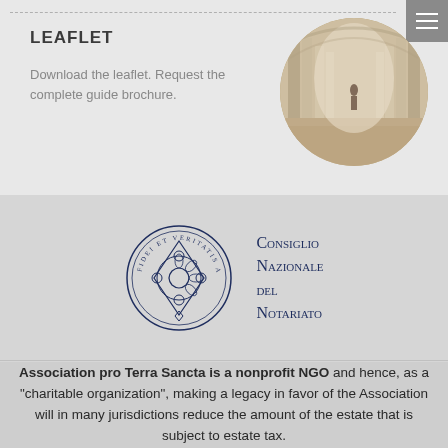LEAFLET
Download the leaflet. Request the complete guide brochure.
[Figure (photo): Circular photo of a grand columned hallway with a figure walking through misty light]
[Figure (logo): Consiglio Nazionale del Notariato official seal with Latin motto 'Fidei et Veritatis Anchora' and accompanying text logo]
Association pro Terra Sancta is a nonprofit NGO and hence, as a "charitable organization", making a legacy in favor of the Association will in many jurisdictions reduce the amount of the estate that is subject to estate tax.